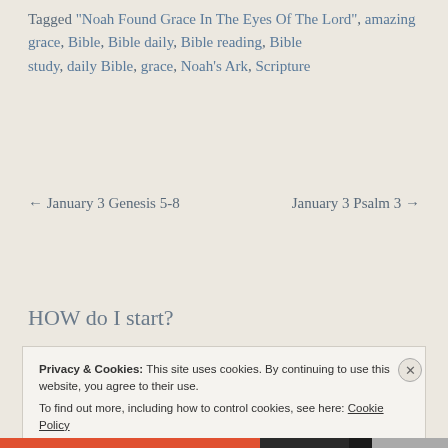Tagged "Noah Found Grace In The Eyes Of The Lord", amazing grace, Bible, Bible daily, Bible reading, Bible study, daily Bible, grace, Noah's Ark, Scripture
← January 3 Genesis 5-8    January 3 Psalm 3 →
HOW do I start?
Privacy & Cookies: This site uses cookies. By continuing to use this website, you agree to their use.
To find out more, including how to control cookies, see here: Cookie Policy
Close and accept